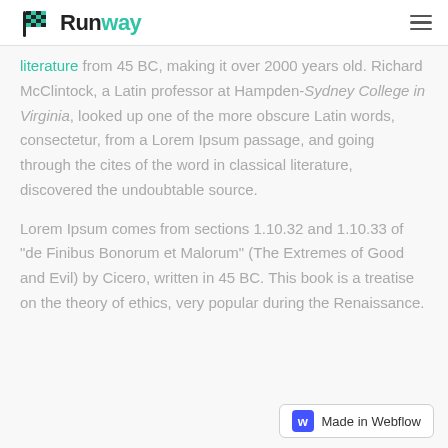Runway
literature from 45 BC, making it over 2000 years old. Richard McClintock, a Latin professor at Hampden-Sydney College in Virginia, looked up one of the more obscure Latin words, consectetur, from a Lorem Ipsum passage, and going through the cites of the word in classical literature, discovered the undoubtable source.
Lorem Ipsum comes from sections 1.10.32 and 1.10.33 of "de Finibus Bonorum et Malorum" (The Extremes of Good and Evil) by Cicero, written in 45 BC. This book is a treatise on the theory of ethics, very popular during the Renaissance.
Made in Webflow